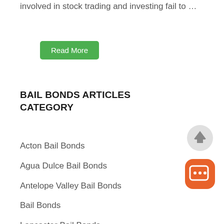involved in stock trading and investing fail to …
Read More
BAIL BONDS ARTICLES CATEGORY
Acton Bail Bonds
Agua Dulce Bail Bonds
Antelope Valley Bail Bonds
Bail Bonds
Lancaster Bail Bonds
Lancaster Bail Bondsman
[Figure (other): Scroll-to-top button (up arrow) and chat bubble button (orange)]